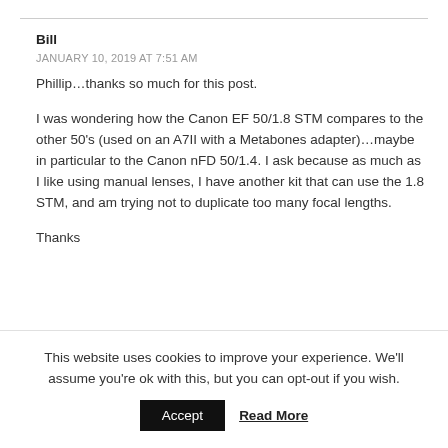Bill
JANUARY 10, 2019 AT 7:51 AM
Phillip…thanks so much for this post.

I was wondering how the Canon EF 50/1.8 STM compares to the other 50's (used on an A7II with a Metabones adapter)…maybe in particular to the Canon nFD 50/1.4. I ask because as much as I like using manual lenses, I have another kit that can use the 1.8 STM, and am trying not to duplicate too many focal lengths.

Thanks
This website uses cookies to improve your experience. We'll assume you're ok with this, but you can opt-out if you wish.
Accept  Read More